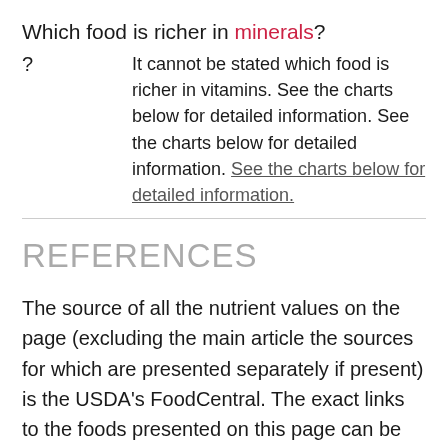Which food is richer in minerals?
? It cannot be stated which food is richer in vitamins. See the charts below for detailed information. See the charts below for detailed information. See the charts below for detailed information.
REFERENCES
The source of all the nutrient values on the page (excluding the main article the sources for which are presented separately if present) is the USDA's FoodCentral. The exact links to the foods presented on this page can be found below.